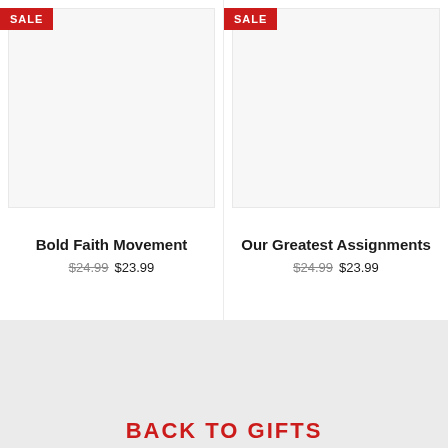[Figure (other): Product card for 'Bold Faith Movement' with SALE badge, white image area, title, and price]
Bold Faith Movement
$24.99 $23.99
[Figure (other): Product card for 'Our Greatest Assignments' with SALE badge, white image area, title, and price]
Our Greatest Assignments
$24.99 $23.99